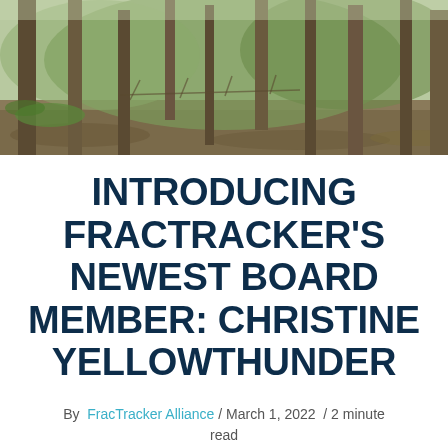[Figure (photo): Forest scene with tall bare tree trunks, leafy green foliage in background, leaf-covered ground, springtime woodland setting]
INTRODUCING FRACTRACKER'S NEWEST BOARD MEMBER: CHRISTINE YELLOWTHUNDER
By FracTracker Alliance / March 1, 2022 / 2 minute read